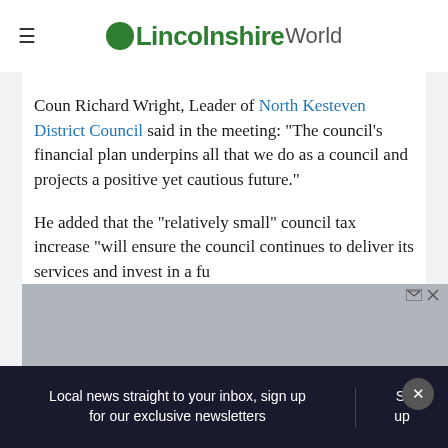Lincolnshire World
Coun Richard Wright, Leader of North Kesteven District Council said in the meeting: “The council’s financial plan underpins all that we do as a council and projects a positive yet cautious future.”
He added that the “relatively small” council tax increase “will ensure the council continues to deliver its services and invest in a fu[ture] environment, and invest in the economy.”
Local news straight to your inbox, sign up for our exclusive newsletters